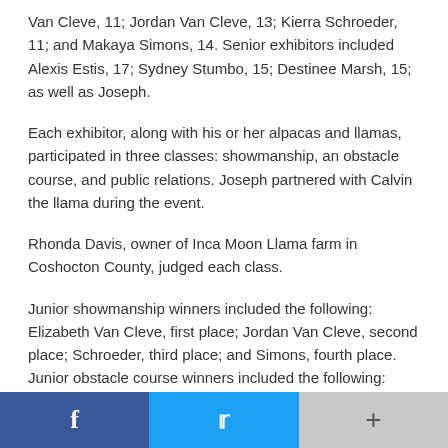Van Cleve, 11; Jordan Van Cleve, 13; Kierra Schroeder, 11; and Makaya Simons, 14. Senior exhibitors included Alexis Estis, 17; Sydney Stumbo, 15; Destinee Marsh, 15; as well as Joseph.
Each exhibitor, along with his or her alpacas and llamas, participated in three classes: showmanship, an obstacle course, and public relations. Joseph partnered with Calvin the llama during the event.
Rhonda Davis, owner of Inca Moon Llama farm in Coshocton County, judged each class.
Junior showmanship winners included the following: Elizabeth Van Cleve, first place; Jordan Van Cleve, second place; Schroeder, third place; and Simons, fourth place. Junior obstacle course winners included the following: Schroeder, first place; Jordan Van Cleve, second place; Simons, third place; and Elizabeth Van Cleve, fourth place. Public relations
[Figure (other): Social media share bar with Facebook, Twitter, and more (+) buttons]